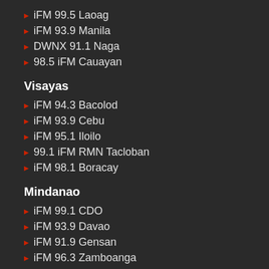iFM 99.5 Laoag
iFM 93.9 Manila
DWNX 91.1 Naga
98.5 iFM Cauayan
Visayas
iFM 94.3 Bacolod
iFM 93.9 Cebu
iFM 95.1 Iloilo
99.1 iFM RMN Tacloban
iFM 98.1 Boracay
Mindanao
iFM 99.1 CDO
iFM 93.9 Davao
iFM 91.9 Gensan
iFM 96.3 Zamboanga
iFM 95.3 Valencia
iFM 90.9 Cotabato
iFM 102.3 Iligan